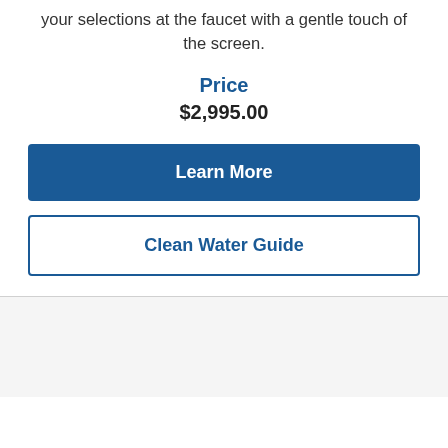your selections at the faucet with a gentle touch of the screen.
Price
$2,995.00
Learn More
Clean Water Guide